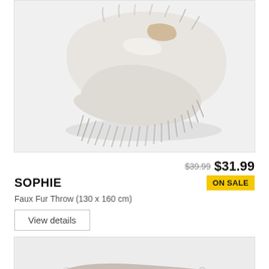[Figure (photo): Faux fur throw blanket bundled loosely, white and grey tones with long fur texture, on a light grey background]
$39.99 $31.99
SOPHIE
ON SALE
Faux Fur Throw (130 x 160 cm)
View details
[Figure (photo): Folded blanket in taupe/grey with subtle pattern, partially visible at bottom of page]